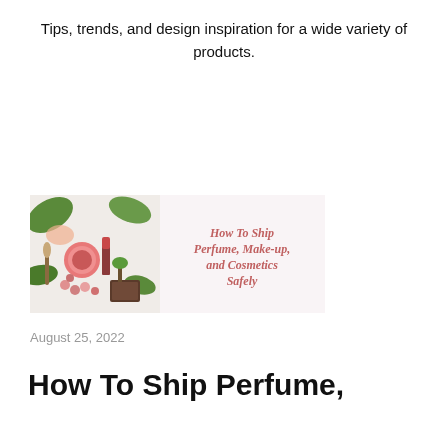Tips, trends, and design inspiration for a wide variety of products.
[Figure (illustration): Banner image showing cosmetics and beauty products on the left side, with text 'How To Ship Perfume, Make-up, and Cosmetics Safely' on the right side in pink/red serif italic font]
August 25, 2022
How To Ship Perfume,